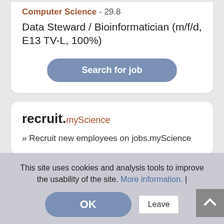Computer Science - 29.8
Data Steward / Bioinformatician (m/f/d, E13 TV-L, 100%)
Search for job
recruit.myScience
» Recruit new employees on jobs.myScience
This site uses cookies and analysis tools to improve the usability of the site. More information. |
OK
Leave